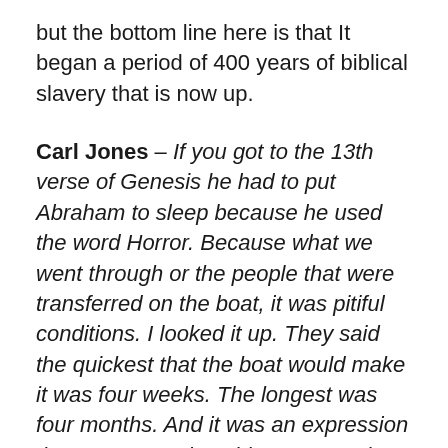but the bottom line here is that It began a period of 400 years of biblical slavery that is now up.
Carl Jones – If you got to the 13th verse of Genesis he had to put Abraham to sleep because he used the word Horror. Because what we went through or the people that were transferred on the boat, it was pitiful conditions. I looked it up. They said the quickest that the boat would make it was four weeks. The longest was four months. And it was an expression that some people said years ago that they could smell the slave ship when it entered the harbor and if you look at the movie ROOTS when they put Kunta Kinte on the ship the first thing he